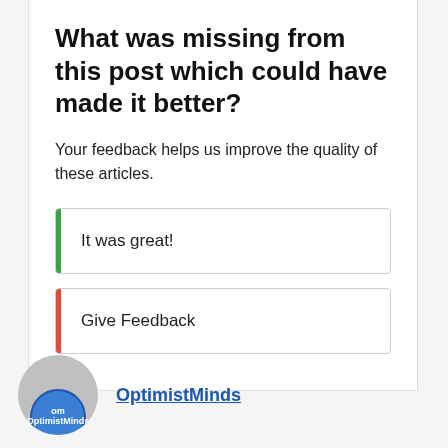What was missing from this post which could have made it better?
Your feedback helps us improve the quality of these articles.
It was great!
Give Feedback
OptimistMinds